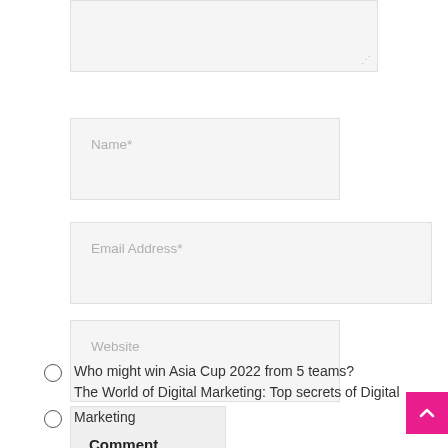[Figure (screenshot): Textarea input box with resize handle at bottom right]
Name*
Email Address*
Website
Comment
Who might win Asia Cup 2022 from 5 teams?
The World of Digital Marketing: Top secrets of Digital Marketing